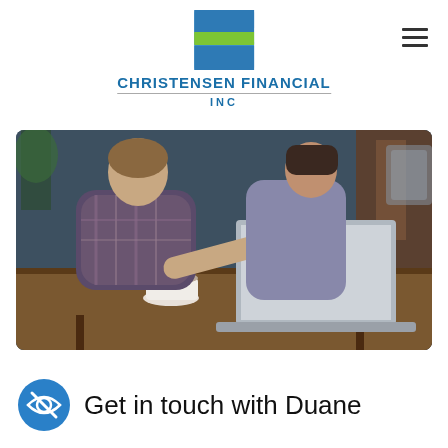[Figure (logo): Christensen Financial Inc logo with blue and green F-shaped icon and company name in blue text]
[Figure (photo): A man and a woman sitting at a cafe table looking at a laptop, the man pointing at the screen]
[Figure (illustration): Blue circular icon with a crossed-out eye symbol (visibility off/privacy icon)]
Get in touch with Duane